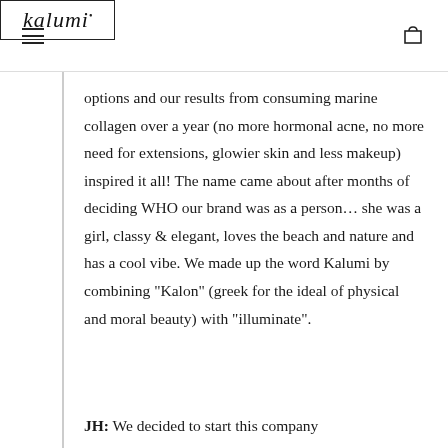kalumi
options and our results from consuming marine collagen over a year (no more hormonal acne, no more need for extensions, glowier skin and less makeup) inspired it all! The name came about after months of deciding WHO our brand was as a person… she was a girl, classy & elegant, loves the beach and nature and has a cool vibe. We made up the word Kalumi by combining “Kalon” (greek for the ideal of physical and moral beauty) with “illuminate”.
JH: We decided to start this company